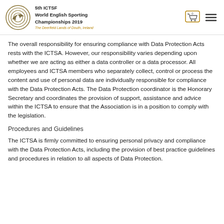5th ICTSF World English Sporting Championships 2019 The Deerfield Lands of Douth, Ireland
The overall responsibility for ensuring compliance with Data Protection Acts rests with the ICTSA. However, our responsibility varies depending upon whether we are acting as either a data controller or a data processor. All employees and ICTSA members who separately collect, control or process the content and use of personal data are individually responsible for compliance with the Data Protection Acts. The Data Protection coordinator is the Honorary Secretary and coordinates the provision of support, assistance and advice within the ICTSA to ensure that the Association is in a position to comply with the legislation.
Procedures and Guidelines
The ICTSA is firmly committed to ensuring personal privacy and compliance with the Data Protection Acts, including the provision of best practice guidelines and procedures in relation to all aspects of Data Protection.